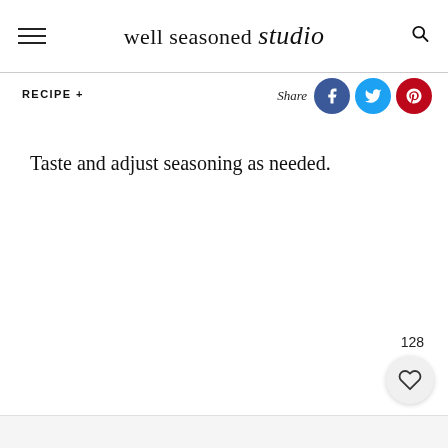well seasoned studio
RECIPE +
Share
Taste and adjust seasoning as needed.
128